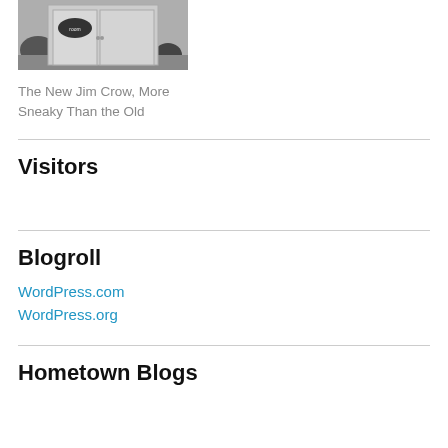[Figure (photo): Black and white photo of a building door with an oval sign]
The New Jim Crow, More Sneaky Than the Old
Visitors
Blogroll
WordPress.com
WordPress.org
Hometown Blogs